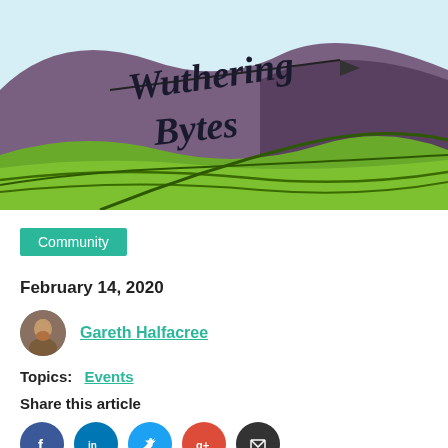[Figure (illustration): Wuthering Bytes logo/banner illustration showing stylized rolling moorland hills in purple and green tones with light blue sky, and 'Wuthering Bytes' written in dark cursive/script font with a small pennant flag]
Community
February 14, 2020
Gareth Halfacree
Topics:  Events
Share this article